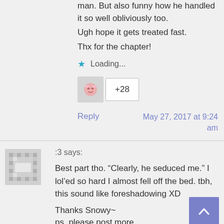man. But also funny how he handled it so well obliviously too.
Ugh hope it gets treated fast.
Thx for the chapter!
Loading...
+28
Reply
May 27, 2017 at 9:24 am
:3 says:
Best part tho. “Clearly, he seduced me.” I lol’ed so hard I almost fell off the bed. tbh, this sound like foreshadowing XD
Thanks Snowy~
ps. please post more.